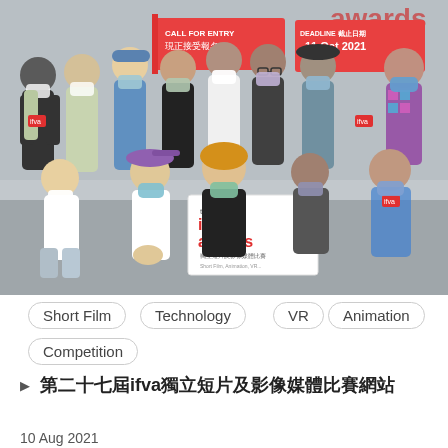[Figure (photo): Group photo of approximately 13-14 people wearing face masks, some holding signs including 'the 27th ifva awards', 'CALL FOR ENTRY 現正接受報名', and '11 Oct 2021'. The group is posed indoors, some standing and some crouching in front.]
Short Film
Technology
VR
Animation
Competition
第二十七屆ifva獨立短片及影像媒體比賽網站
10 Aug 2021